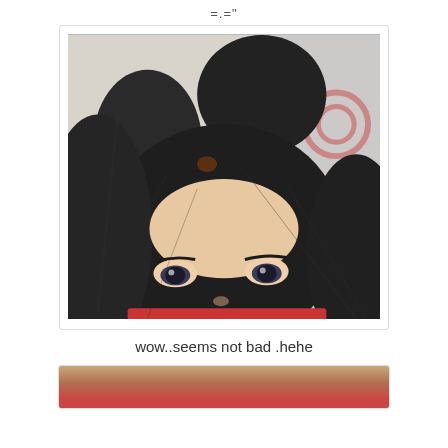=.="
[Figure (photo): Close-up selfie photo of a person with dark hair styled in two space buns on top of the head, showing forehead and eyes, wearing a red top. The person appears to be looking up at the camera.]
wow..seems not bad .hehe
[Figure (photo): Partial view of a second photo, cropped at the bottom of the page, showing what appears to be another selfie with red clothing visible.]